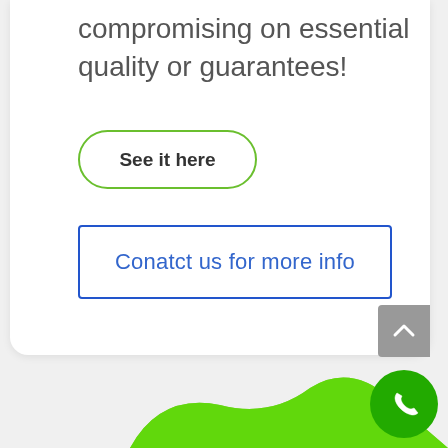compromising on essential quality or guarantees!
See it here
Conatct us for more info
[Figure (illustration): Green blob shape at bottom of page with a green phone icon circle button in the bottom right corner and a grey scroll-to-top button on the right side]